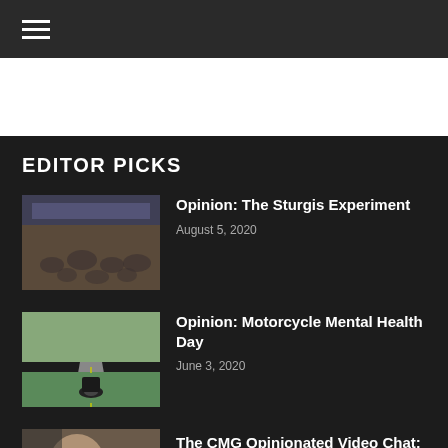≡ (hamburger menu)
EDITOR PICKS
[Figure (photo): Crowd of motorcyclists at Sturgis rally with a 'Welcome to Sturgis' banner overhead]
Opinion: The Sturgis Experiment
August 5, 2020
[Figure (photo): Rear view of a motorcycle on a rural road surrounded by green grass]
Opinion: Motorcycle Mental Health Day
June 3, 2020
[Figure (photo): Partial view of a person, partially cropped at bottom of page]
The CMG Opinionated Video Chat: The